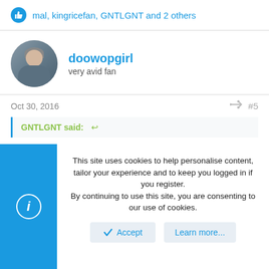mal, kingricefan, GNTLGNT and 2 others
doowopgirl
very avid fan
Oct 30, 2016   #5
GNTLGNT said:
This site uses cookies to help personalise content, tailor your experience and to keep you logged in if you register.
By continuing to use this site, you are consenting to our use of cookies.
Accept
Learn more...